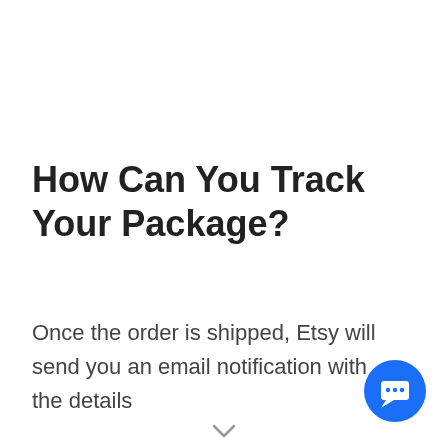How Can You Track Your Package?
Once the order is shipped, Etsy will send you an email notification with the details
[Figure (illustration): Blue circular chat/message button icon in bottom-right corner]